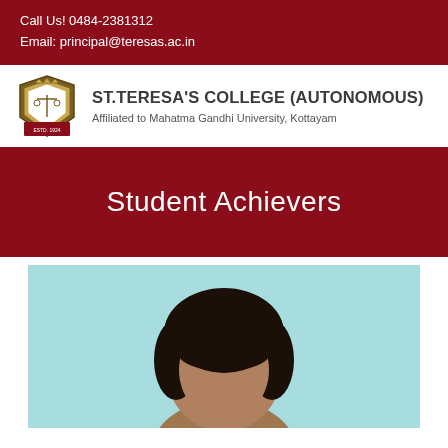Call Us! 0484-2381312
Email: principal@teresas.ac.in
[Figure (logo): St. Teresa's College crest/seal with college name and affiliation text]
Student Achievers
[Figure (photo): Photograph of a student (head and shoulders) against a light blue background]